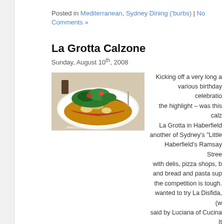Posted in Mediterranean, Sydney Dining ('burbs) | No Comments »
La Grotta Calzone
Sunday, August 10th, 2008
[Figure (photo): A calzone on a white plate with salad greens on top, tomato sauce visible, on a restaurant table. Watermark: www.foodiochat.com]
Kicking off a very long a various birthday celebrations the highlight – was this calz La Grotta in Haberfield another of Sydney's "Little Haberfield's Ramsay Stree with delis, pizza shops, b and bread and pasta sup the competition is tough. wanted to try La Disfida, (w said by Luciana of Cucina It be her favourite over rival M Bocco), but alas it was closed. So then Dolcissimo looked quite packed. didn't seem to have more than pasta and pizza on offer, we walked to nex Grotta, which seemed alot quieter but had a more diverse menu. GREAT because not only was the service an outstanding differentiator from its H cousins, but this calzone was wood fired perfection. The waiters had no whatsover turning any of the other pizzas on the menu into the calzone, so the Special, with ham, salami, mushrooms, olives (and hold the pineapp gigantic crescent arrived which was bigger than the plate – crust was